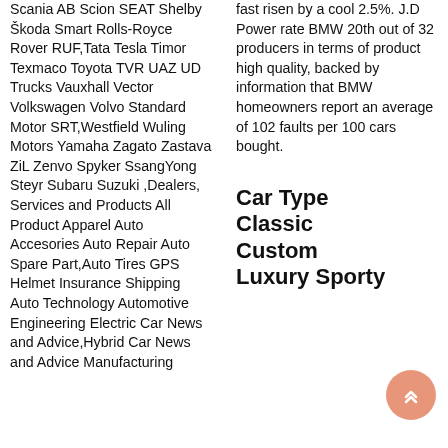Scania AB Scion SEAT Shelby Škoda Smart Rolls-Royce Rover RUF,Tata Tesla Timor Texmaco Toyota TVR UAZ UD Trucks Vauxhall Vector Volkswagen Volvo Standard Motor SRT,Westfield Wuling Motors Yamaha Zagato Zastava ZiL Zenvo Spyker SsangYong Steyr Subaru Suzuki ,Dealers, Services and Products All Product Apparel Auto Accesories Auto Repair Auto Spare Part,Auto Tires GPS Helmet Insurance Shipping Auto Technology Automotive Engineering Electric Car News and Advice,Hybrid Car News and Advice Manufacturing
fast risen by a cool 2.5%. J.D Power rate BMW 20th out of 32 producers in terms of product high quality, backed by information that BMW homeowners report an average of 102 faults per 100 cars bought.
Car Type Classic Custom Luxury Sporty